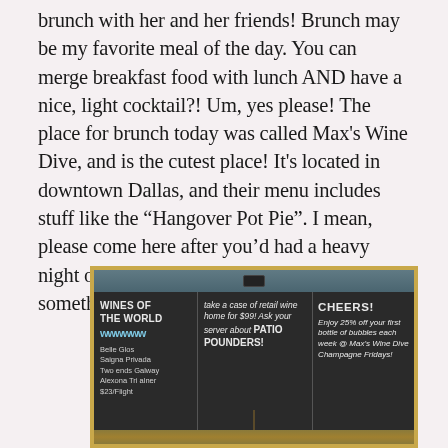brunch with her and her friends! Brunch may be my favorite meal of the day. You can merge breakfast food with lunch AND have a nice, light cocktail?! Um, yes please! The place for brunch today was called Max's Wine Dive, and is the cutest place! It's located in downtown Dallas, and their menu includes stuff like the "Hangover Pot Pie". I mean, please come here after you'd had a heavy night of drinking. Okay? They have something for you.
[Figure (photo): Photo of a chalkboard menu at Max's Wine Dive showing three sections: 'Wines of the World' with listings including Belle Glos, Saigna Privada, Two ends Galway, Alexona Tri alner, $23/Flight; middle section 'take a case of retail wine home for $99! Ask your server about PATIO POUNDERS!'; right section 'CHEERS! Enjoy 25% off your first bottle of bubbles each week @ Max's Wine Dive Champagne Fridays!' A pendant lamp hangs in front of the chalkboard.]